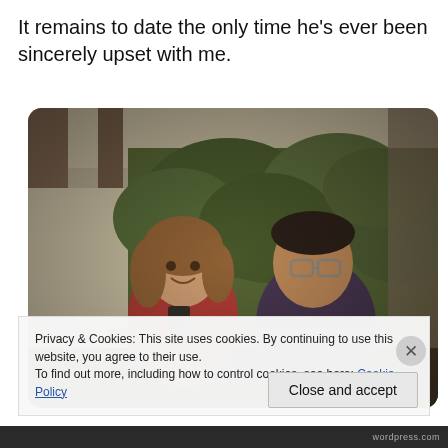It remains to date the only time he’s ever been sincerely upset with me.
[Figure (photo): Outdoor photo of two people seated in a patio swing or garden chairs. A woman in a red top on the left holds a phone; a man wearing glasses and a dark polo shirt sits on the right. Background shows green foliage, a pergola or shade structure, and a house wall. Photo has a warm vintage tone.]
Privacy & Cookies: This site uses cookies. By continuing to use this website, you agree to their use.
To find out more, including how to control cookies, see here: Cookie Policy
Close and accept